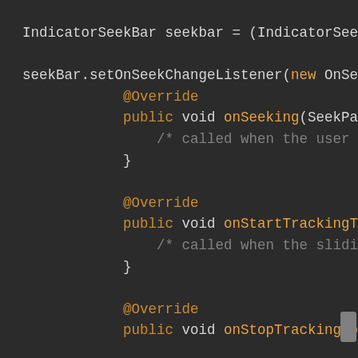[Figure (screenshot): Dark-themed code editor screenshot showing Java code with IndicatorSeekBar seekbar declaration, seekBar.setOnSeekChangeListener call, and method overrides for onSeeking, onStartTrackingTouch, and onStopTrackingTouch with annotation @Override and public void keywords highlighted in orange.]